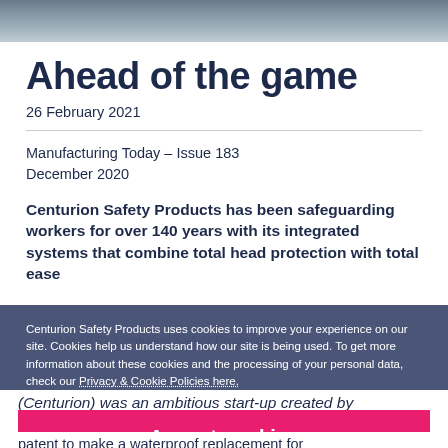[Figure (photo): Top banner image showing a grey/blue outdoor scene, partially visible at the top of the page]
Ahead of the game
26 February 2021
Manufacturing Today – Issue 183
December 2020
Centurion Safety Products has been safeguarding workers for over 140 years with its integrated systems that combine total head protection with total ease
Centurion Safety Products uses cookies to improve your experience on our site. Cookies help us understand how our site is being used. To get more information about these cookies and the processing of your personal data, check our Privacy & Cookie Policies here.
(Centurion) was an ambitious start-up created by
Accept cookies
patent to make a waterproof replacement for